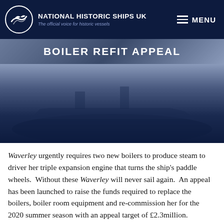NATIONAL HISTORIC SHIPS UK – The official voice for historic vessels
BOILER REFIT APPEAL
[Figure (photo): Dark atmospheric photograph of the Waverley paddle steamer, showing the ship at sea against a dark background, partially obscured]
Waverley urgently requires two new boilers to produce steam to driver her triple expansion engine that turns the ship's paddle wheels.  Without these Waverley will never sail again.  An appeal has been launched to raise the funds required to replace the boilers, boiler room equipment and re-commission her for the 2020 summer season with an appeal target of £2.3million.